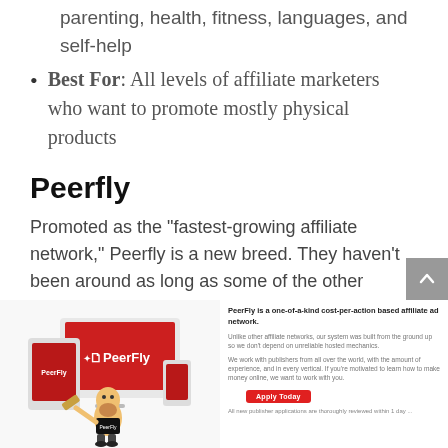parenting, health, fitness, languages, and self-help
Best For: All levels of affiliate marketers who want to promote mostly physical products
Peerfly
Promoted as the “fastest-growing affiliate network,” Peerfly is a new breed. They haven’t been around as long as some of the other players in the field, but they have won several awards and work hard to make sure their platform is as useful as it is easy to use.
[Figure (screenshot): Screenshot of PeerFly website showing the PeerFly logo with a cartoon mascot on devices (monitor, tablet, phone) on the left, and text about PeerFly being a one-of-a-kind cost-per-action based affiliate network on the right, with an Apply Today button.]